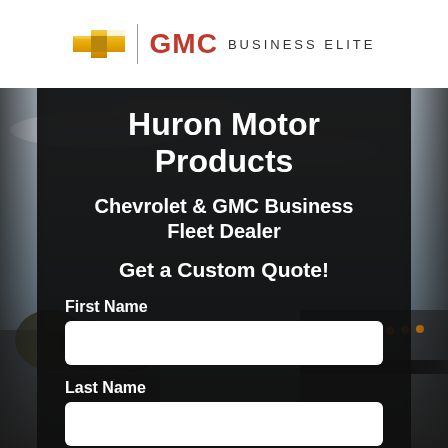[Figure (logo): Chevrolet bowtie logo and GMC Business Elite logo with divider]
Huron Motor Products
Chevrolet & GMC Business Fleet Dealer
Get a Custom Quote!
First Name
Last Name